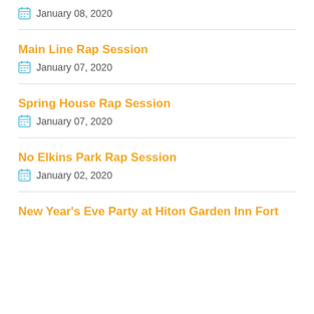January 08, 2020
Main Line Rap Session
January 07, 2020
Spring House Rap Session
January 07, 2020
No Elkins Park Rap Session
January 02, 2020
New Year's Eve Party at Hiton Garden Inn Fort